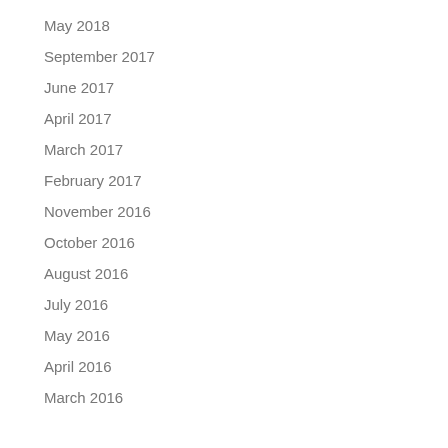May 2018
September 2017
June 2017
April 2017
March 2017
February 2017
November 2016
October 2016
August 2016
July 2016
May 2016
April 2016
March 2016